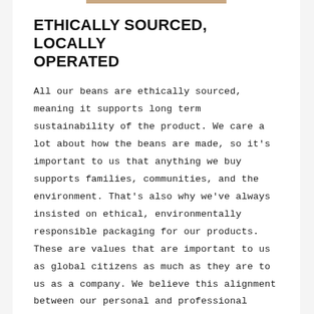ETHICALLY SOURCED, LOCALLY OPERATED
All our beans are ethically sourced, meaning it supports long term sustainability of the product. We care a lot about how the beans are made, so it's important to us that anything we buy supports families, communities, and the environment. That's also why we've always insisted on ethical, environmentally responsible packaging for our products. These are values that are important to us as global citizens as much as they are to us as a company. We believe this alignment between our personal and professional values makes us stronger.